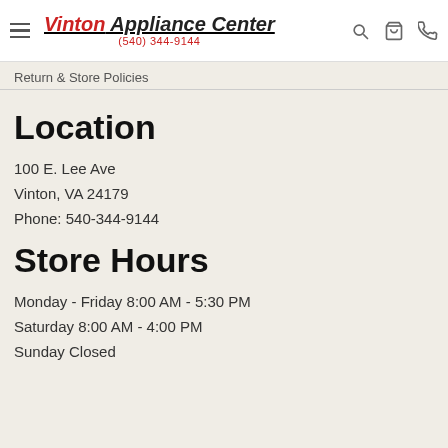Vinton Appliance Center (540) 344-9144
Return & Store Policies
Location
100 E. Lee Ave
Vinton, VA 24179
Phone: 540-344-9144
Store Hours
Monday - Friday 8:00 AM - 5:30 PM
Saturday 8:00 AM - 4:00 PM
Sunday Closed